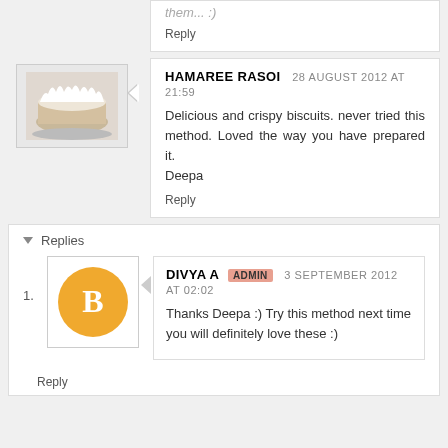them... :)
Reply
HAMAREE RASOI  28 AUGUST 2012 AT 21:59
Delicious and crispy biscuits. never tried this method. Loved the way you have prepared it.
Deepa
Reply
Replies
DIVYA A  ADMIN  3 SEPTEMBER 2012 AT 02:02
Thanks Deepa :) Try this method next time you will definitely love these :)
Reply